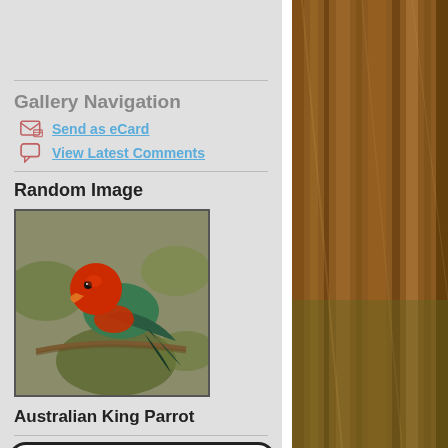Gallery Navigation
Send as eCard
View Latest Comments
Random Image
[Figure (photo): Australian King Parrot perched on a branch, with bright red head and green body, photographed against a blurred natural background.]
Australian King Parrot
[Figure (logo): Partial view of a badge/logo with rounded rectangle border containing decorative text or imagery, partially cut off at bottom of page.]
[Figure (photo): Right panel showing a blurred close-up photo of tree bark or wood in brown and green tones.]